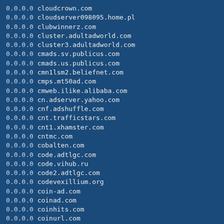0.0.0.0 cloudcrown.com
0.0.0.0 cloudserver098095.home.pl
0.0.0.0 clubwinnerz.com
0.0.0.0 cluster.adultadworld.com
0.0.0.0 cluster3.adultadworld.com
0.0.0.0 cmads.sv.publicus.com
0.0.0.0 cmads.us.publicus.com
0.0.0.0 cmn1lsm2.beliefnet.com
0.0.0.0 cmps.mt50ad.com
0.0.0.0 cmweb.ilike.alibaba.com
0.0.0.0 cn.adserver.yahoo.com
0.0.0.0 cnf.adshuffle.com
0.0.0.0 cnt.trafficstars.com
0.0.0.0 cnt1.xhamster.com
0.0.0.0 cntmc.com
0.0.0.0 cobalten.com
0.0.0.0 code.adtlgc.com
0.0.0.0 code.vihub.ru
0.0.0.0 code2.adtlgc.com
0.0.0.0 codevexillium.org
0.0.0.0 coin-ad.com
0.0.0.0 coinad.com
0.0.0.0 coinhits.com
0.0.0.0 coinurl.com
0.0.0.0 coinverti.com
0.0.0.0 coinzilla.io
0.0.0.0 col-med.com
0.0.0.0 col.mobileads.msn.com
0.0.0.0 colddry.com
0.0.0.0 collegiogeometri.it
0.0.0.0 com.htmlwww.youfck.com
0.0.0.0 comcastresidentialservices.tt.omtrdc.net